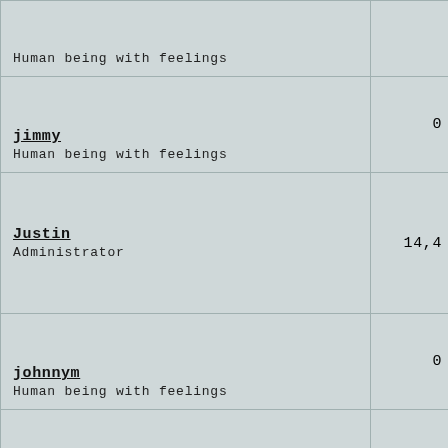| User | Count |
| --- | --- |
| Human being with feelings |  |
| jimmy
Human being with feelings | 0 |
| Justin
Administrator | 14,4… |
| johnnym
Human being with feelings | 0 |
| JEL
Human being with feelings | 4 |
| Jorchime
Human being with feelings | 1… |